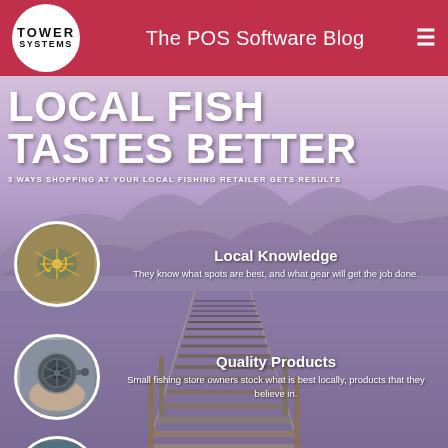The POS Software Blog
[Figure (infographic): Infographic titled 'Local Fish Tastes Better - 3 Ways Shopping at Your Local Fishing Retailer Gets Results'. Background shows a lake/dock scene at dusk. Three circular image callouts with text: 1) Local Knowledge - They know what spots are best, and what gear will get the job done. 2) Quality Products - Small fishing store owners stock what is best locally, products that they believe in. 3) Local Connections (partially visible).]